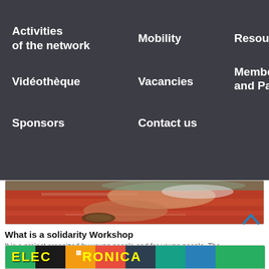Activities of the network
Mobility
Resources
Vidéothèque
Vacancies
Members and Partners
Sponsors
Contact us
[Figure (photo): Close-up photo of a child's hands on a red/orange textured surface]
What is a solidarity Workshop
It is a project organized by young people and for young people. The goal is to promote international solidarity and to enable young p
[Figure (photo): Bottom card showing ELECTRONICA text on colorful background]